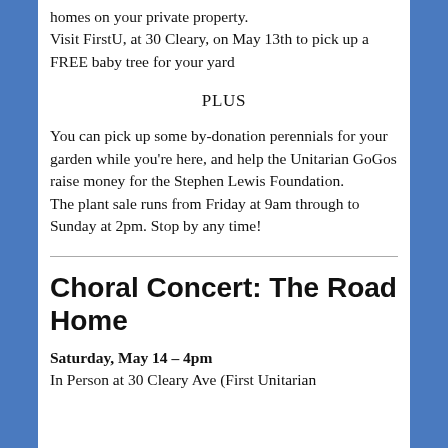homes on your private property.
Visit FirstU, at 30 Cleary, on May 13th to pick up a FREE baby tree for your yard
PLUS
You can pick up some by-donation perennials for your garden while you're here, and help the Unitarian GoGos raise money for the Stephen Lewis Foundation.
The plant sale runs from Friday at 9am through to Sunday at 2pm. Stop by any time!
Choral Concert: The Road Home
Saturday, May 14 – 4pm
In Person at 30 Cleary Ave (First Unitarian